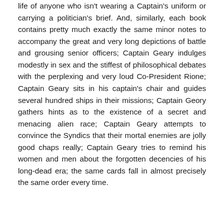life of anyone who isn't wearing a Captain's uniform or carrying a politician's brief. And, similarly, each book contains pretty much exactly the same minor notes to accompany the great and very long depictions of battle and grousing senior officers; Captain Geary indulges modestly in sex and the stiffest of philosophical debates with the perplexing and very loud Co-President Rione; Captain Geary sits in his captain's chair and guides several hundred ships in their missions; Captain Geory gathers hints as to the existence of a secret and menacing alien race; Captain Geary attempts to convince the Syndics that their mortal enemies are jolly good chaps really; Captain Geary tries to remind his women and men about the forgotten decencies of his long-dead era; the same cards fall in almost precisely the same order every time.